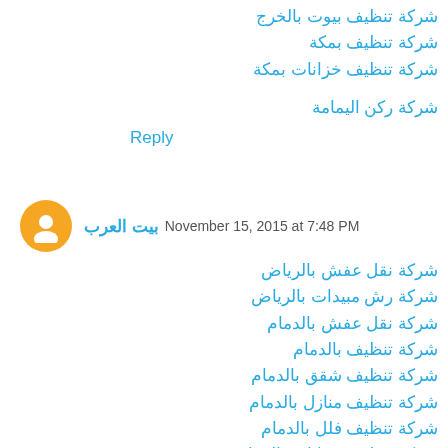شركة تنظيف بيوت بالخرج
شركة تنظيف بمكة
شركة تنظيف خزانات بمكة
شركة ركن اليمامة
Reply
بيت العرب  November 15, 2015 at 7:48 PM
شركة نقل عفش بالرياض
شركة رش مبيدات بالرياض
شركة نقل عفش بالدمام
شركة تنظيف بالدمام
شركة تنظيف شقق بالدمام
شركة تنظيف منازل بالدمام
شركة تنظيف فلل بالدمام
شركة تنظيف خزانات بالدمام
شركة رش مبيدات بالدمام
شركة مكافحة حشرات بالدمام
شركة كشف تسربات المياه بالدمام
شركة تسليك مجارى بالدمام
شركة تنظيف بالاحساء